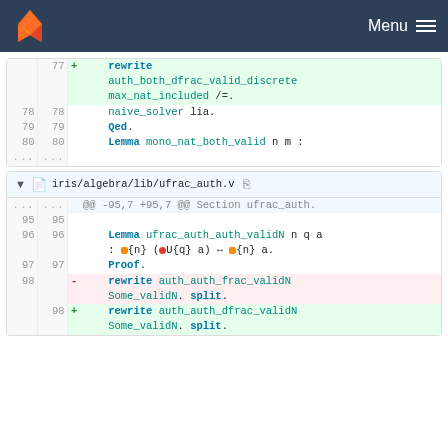GitLab — Menu
| old_ln | new_ln | sign | code |
| --- | --- | --- | --- |
|  |  | + |     rewrite |
|  |  |  |     auth_both_dfrac_valid_discrete |
|  |  |  |     max_nat_included /=. |
| 78 | 78 |  |     naive_solver lia. |
| 79 | 79 |  |     Qed. |
| 80 | 80 |  |     Lemma mono_nat_both_valid n m : |
| ... | ... |  |  |
iris/algebra/lib/ufrac_auth.v
| old_ln | new_ln | sign | code |
| --- | --- | --- | --- |
| ... | ... |  | @@ -95,7 +95,7 @@ Section ufrac_auth. |
| 95 | 95 |  |  |
| 96 | 96 |  |     Lemma ufrac_auth_auth_validN n q a : ✓{n} (●U{q} a) ↔ ✓{n} a. |
| 97 | 97 |  |     Proof. |
| 98 |  | - |     rewrite auth_auth_frac_validN Some_validN. split. |
|  | 98 | + |     rewrite auth_auth_dfrac_validN Some_validN. split. |